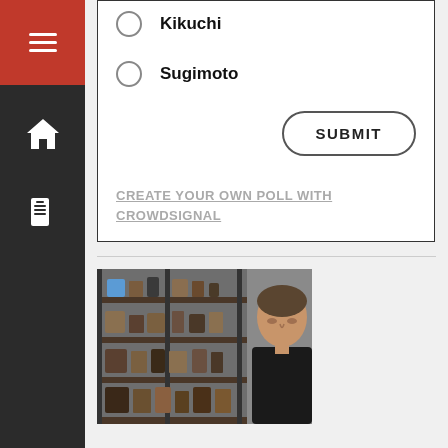Kikuchi
Sugimoto
SUBMIT
CREATE YOUR OWN POLL WITH CROWDSIGNAL
[Figure (photo): A man in a dark shirt in front of shelves filled with various small objects and collectibles in a shop or display room]